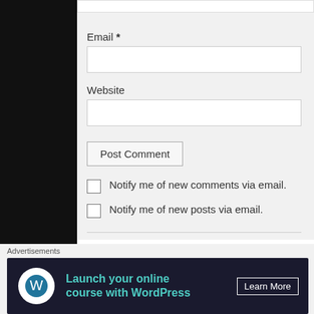Email *
Website
Post Comment
Notify me of new comments via email.
Notify me of new posts via email.
← #2772: Lady Jave
Advertisements
[Figure (screenshot): Advertisement banner: dark background with teal text 'Launch your online course with WordPress' and 'Learn More' button, WordPress logo icon in white circle]